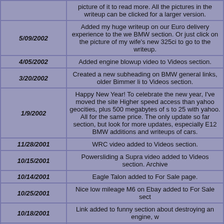| Date | Description |
| --- | --- |
|  | picture of it to read more. All the pictures in the writeup can be clicked for a larger version. |
| 5/09/2002 | Added my huge writeup on our Euro delivery experience to the website BMW section. Or just click on the picture of my wife's new 325ci to go to the writeup. |
| 4/05/2002 | Added engine blowup video to Videos section. |
| 3/20/2002 | Created a new subheading on BMW general links, older Bimmer links, to Videos section. |
| 1/9/2002 | Happy New Year! To celebrate the new year, I've moved the site. Higher speed access than yahoo geocities, plus 500 megabytes of space compared to 25 with yahoo. All for the same price. The only update so far section, but look for more updates, especially E12 BMW additions and writeups of cars. |
| 11/28/2001 | WRC video added to Videos section. |
| 10/15/2001 | Powersliding a Supra video added to Videos section. Archive |
| 10/14/2001 | Eagle Talon added to For Sale page. |
| 10/25/2001 | Nice low mileage M6 on Ebay added to For Sale section |
| 10/18/2001 | Link added to funny section about destroying an engine, w |
| 10/02/2001 | Link added to bottom of videos section with lots of exotic c |
Click for ARCHIVED NEWS here.